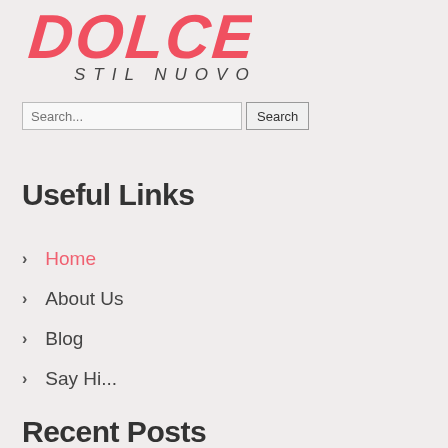[Figure (logo): Dolce Stil Nuovo logo with red stylized text 'DOLCE' and italic subtitle 'STIL NUOVO']
Search...
Useful Links
Home
About Us
Blog
Say Hi...
Recent Posts